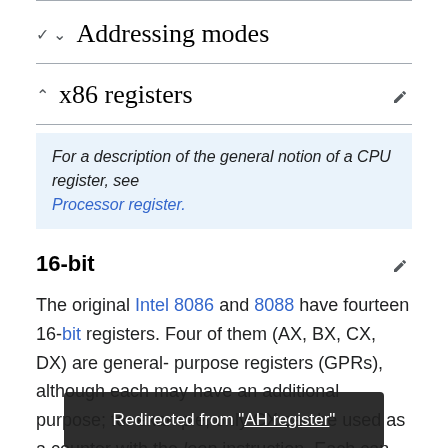∨ Addressing modes
∧ x86 registers
For a description of the general notion of a CPU register, see Processor register.
16-bit
The original Intel 8086 and 8088 have fourteen 16-bit registers. Four of them (AX, BX, CX, DX) are general-purpose registers (GPRs), although each may have an additional purpose; for example, only CX can be used as a counter with the loop instruction. Each can be accessed as t... accessed as BH and low byte as BL). Two pointer
Redirected from "AH register"